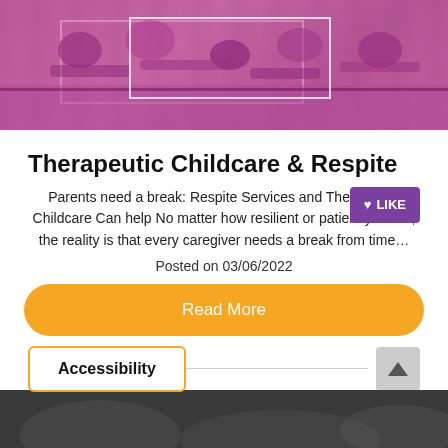[Figure (photo): Purple-tinted overhead photo of people working/writing at a table, with a white rectangle overlay in the center]
Therapeutic Childcare & Respite
Parents need a break: Respite Services and Therapeutic Childcare Can help No matter how resilient or patient you are, the reality is that every caregiver needs a break from time…
Posted on 03/06/2022
Read More
Accessibility
[Figure (photo): Dark gray/black blurred photo at the bottom, partially cut off]